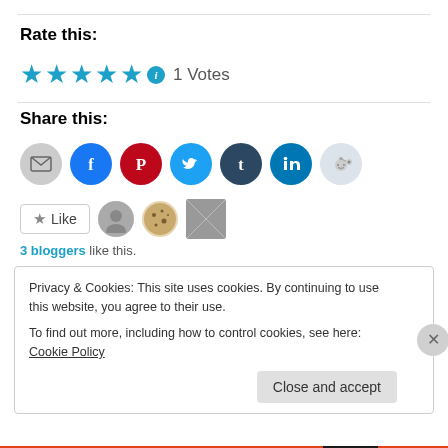Rate this:
[Figure (infographic): 5 blue stars with an info icon and '1 Votes' text]
Share this:
[Figure (infographic): Row of social media share icons: email, Facebook, Pinterest, Twitter, Tumblr, LinkedIn, Reddit]
[Figure (infographic): Like button with star, and 3 blogger avatars]
3 bloggers like this.
Privacy & Cookies: This site uses cookies. By continuing to use this website, you agree to their use. To find out more, including how to control cookies, see here: Cookie Policy